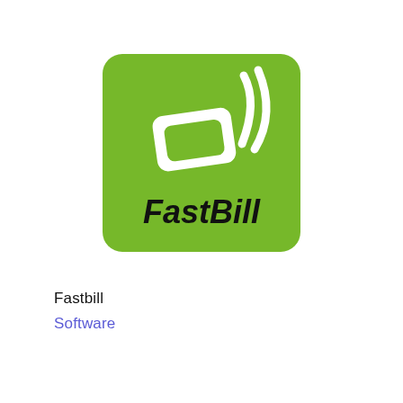[Figure (logo): FastBill logo: green rounded square with a white stylized card/document icon with wifi-like signal arcs, and the text 'FastBill' in bold black italic font at the bottom of the green square.]
Fastbill
Software